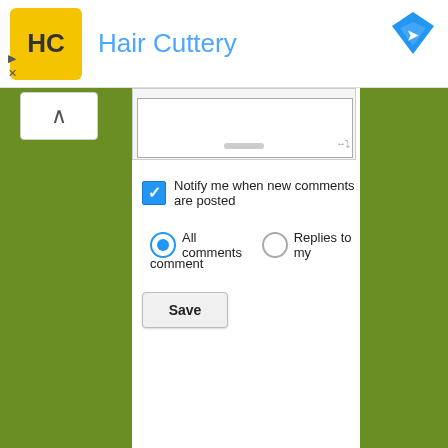[Figure (screenshot): Hair Cuttery advertisement banner with yellow logo, blue text title, and blue diamond icon]
[Figure (screenshot): Web form UI showing textarea, checkbox for notify, radio buttons for All comments and Replies to my comment, and Save button]